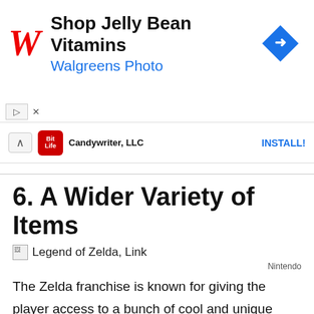[Figure (screenshot): Walgreens ad banner: red italic W logo, 'Shop Jelly Bean Vitamins' bold text, 'Walgreens Photo' in blue, blue diamond navigation icon on right]
[Figure (screenshot): Second ad banner: Candywriter LLC BitLife app install ad with up chevron, red BitLife icon, and INSTALL! button in blue]
6. A Wider Variety of Items
[Figure (photo): Broken/missing image placeholder for Legend of Zelda, Link image]
Nintendo
The Zelda franchise is known for giving the player access to a bunch of cool and unique items. Aside from a handful of runes and a paraglider, the game only had three kinds of